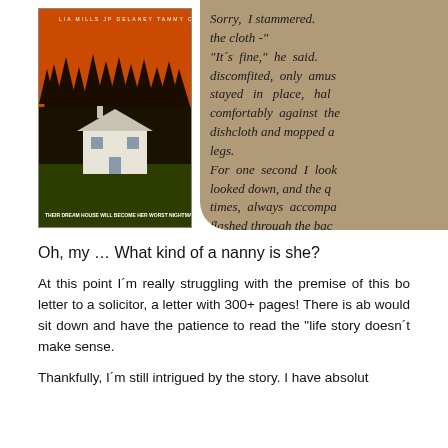[Figure (photo): Book cover showing a white house against dark trees with orange sky background. Text reads 'THEIR DREAM HOUSE WILL BECOME HER WORST NIGHTMARE']
Sorry, I stammered. the cloth - "It's fine," he said. discomfited, only amus stayed in place, hal comfortably against the dishcloth and mopped a legs. For one second I look looked down, and the q times, always accompa flashed through the bac 're down there, love…
Oh, my … What kind of a nanny is she?
At this point I´m really struggling with the premise of this bo letter to a solicitor, a letter with 300+ pages! There is ab would sit down and have the patience to read the "life story doesn´t make sense.
Thankfully, I´m still intrigued by the story. I have absolut